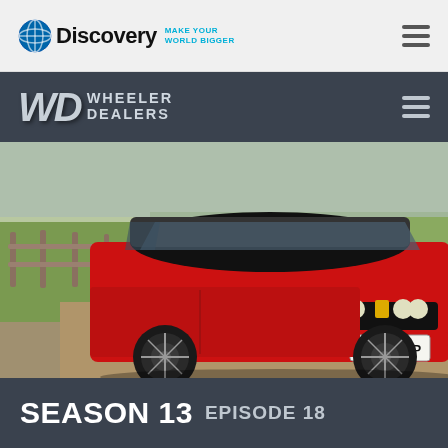[Figure (logo): Discovery Channel logo with globe icon and tagline MAKE YOUR WORLD BIGGER in cyan]
[Figure (logo): Wheeler Dealers logo with WD letters in silver italic and hamburger menu icon on dark background]
[Figure (photo): Red Lancia Delta Integrale with license plate F144 TWP parked on a dirt path next to a wooden fence with green fields in background]
SEASON 13 EPISODE 18